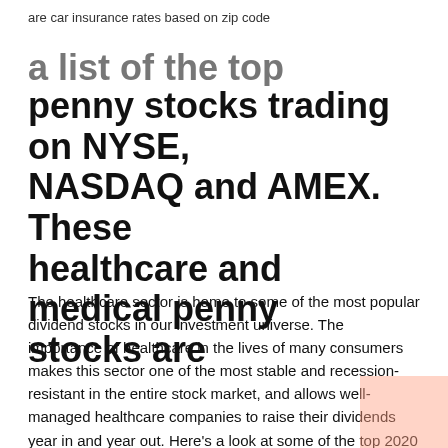are car insurance rates based on zip code
a list of the top healthcare penny stocks trading on NYSE, NASDAQ and AMEX. These healthcare and medical penny stocks are
The healthcare sector is home to some of the most popular dividend stocks in our investment universe. The importance of healthcare in the lives of many consumers makes this sector one of the most stable and recession-resistant in the entire stock market, and allows well-managed healthcare companies to raise their dividends year in and year out. Here’s a look at some of the top 2020 stocks to buy in health care, a historically resilient sector. DaVita ( DVA ) Novartis ( NVS ) Idexx Labs ( IDXX ) AbbVie ( ABBV ) Anthem ( ANTM ) Takeda Pharmaceutical ( TAK ) CVS Corp. ( CVS ) Cigna ( CI ) Intercept Pharmaceuticals ( ICPT ) Johnson & Johnson ( Healthcare & Medical Sector Dividend Stocks healthcare penny stocks are some of the top